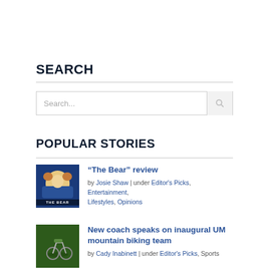SEARCH
Search...
POPULAR STORIES
“The Bear” review
by Josie Shaw | under Editor’s Picks, Entertainment, Lifestyles, Opinions
New coach speaks on inaugural UM mountain biking team
by Cady Inabinett | under Editor’s Picks, Sports